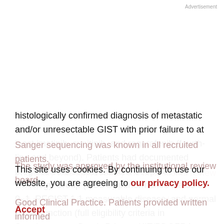Advertisement
histologically confirmed diagnosis of metastatic and/or unresectable GIST with prior failure to at least imatinib, sunitinib, and regorafenib (fourth-line and beyond). Patients had documented progressive disease, Eastern Cooperative Oncology Group (ECOG) performance status of 0–1, RECIST 1.1 measurable disease, and normal organ function (full eligibility criteria in Supplementary Data). Primary KIT/PDGFRA tumor tissue genotype by
Sanger sequencing was known in all recruited patients. The study was approved by the institutional review board and conducted in compliance with guidelines for Good Clinical Practice. Patients provided written informed
This site uses cookies. By continuing to use our website, you are agreeing to our privacy policy. Accept